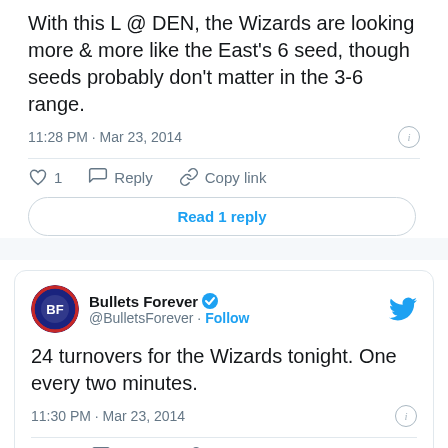With this L @ DEN, the Wizards are looking more & more like the East's 6 seed, though seeds probably don't matter in the 3-6 range.
11:28 PM · Mar 23, 2014
1  Reply  Copy link
Read 1 reply
Bullets Forever @BulletsForever · Follow
24 turnovers for the Wizards tonight. One every two minutes.
11:30 PM · Mar 23, 2014
1  Reply  Copy link